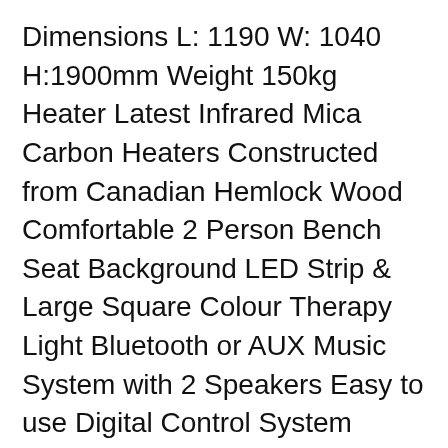Dimensions L: 1190 W: 1040 H:1900mm Weight 150kg Heater Latest Infrared Mica Carbon Heaters Constructed from Canadian Hemlock Wood Comfortable 2 Person Bench Seat Background LED Strip & Large Square Colour Therapy Light Bluetooth or AUX Music System with 2 Speakers Easy to use Digital Control System Ceramic Tile Foot Heater Full-Width ...
Top Quality Spa Pools from $4995, 3 Layer Insulation, Canadian Design. New Zealand Wide Delivery with a Premium Warranty and 60 Day satisfaction guarantee. Installation instructions for top mount cover lifter model VX3. Download - Cover Lifter - VX3...